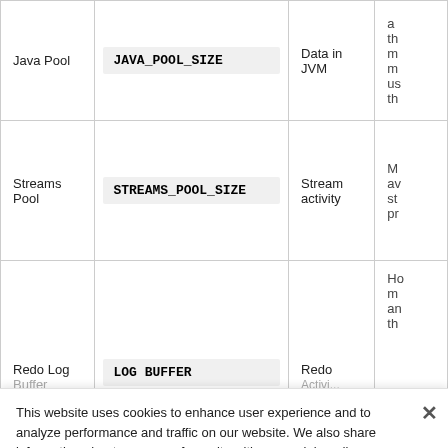|  | Parameter | Affected by | Description |
| --- | --- | --- | --- |
| Java Pool | JAVA_POOL_SIZE | Data in JVM | a... th... m... m... us... th... |
| Streams Pool | STREAMS_POOL_SIZE | Stream activity | M... av... st... pr... |
| Redo Log Buffer | LOG_BUFFER | Redo E... | Ho... m... an... th... |
This website uses cookies to enhance user experience and to analyze performance and traffic on our website. We also share information about your use of our site with our social media, advertising and analytics partners. Cookie Statement
Do Not Sell My Personal Information
Accept Cookies